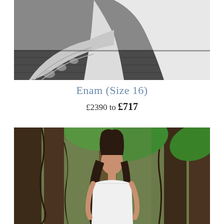[Figure (photo): Partial view of a white wedding dress with lace trim on a grey floor background, showing only the lower train portion of the gown]
Enam (Size 16)
£2390 to £717
[Figure (photo): A young woman with dark hair wearing a strapless white wedding dress, standing in front of trees with large tropical leaves in an outdoor forest setting]